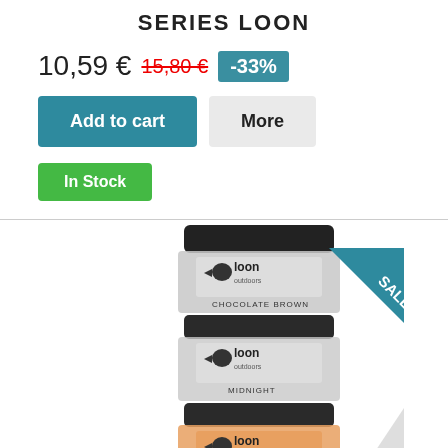SERIES LOON
10,59 € 15,80 € -33%
Add to cart | More
In Stock
[Figure (photo): Stack of three Loon Outdoors product containers (CHOCOLATE BROWN, MIDNIGHT, and a third) with a SALE! corner ribbon banner on the right side.]